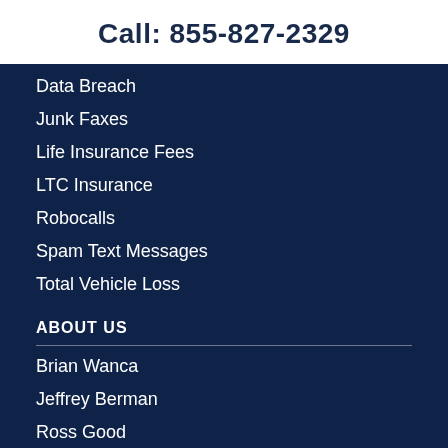Call: 855-827-2329
Data Breach
Junk Faxes
Life Insurance Fees
LTC Insurance
Robocalls
Spam Text Messages
Total Vehicle Loss
ABOUT US
Brian Wanca
Jeffrey Berman
Ross Good
Glenn L. Hara